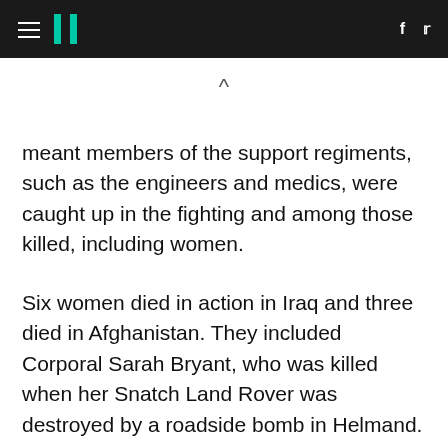HuffPost navigation header with hamburger menu, logo, Facebook and Twitter icons
meant members of the support regiments, such as the engineers and medics, were caught up in the fighting and among those killed, including women.
Six women died in action in Iraq and three died in Afghanistan. They included Corporal Sarah Bryant, who was killed when her Snatch Land Rover was destroyed by a roadside bomb in Helmand.
In Basra, one roadside bomb attack on a Warrior